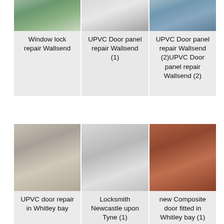[Figure (photo): Three photos in a row: window lock, white UPVC door, glass window panel]
Window lock repair Wallsend
UPVC Door panel repair Wallsend (1)
UPVC Door panel repair Wallsend (2)UPVC Door panel repair Wallsend (2)
[Figure (photo): Three photos in a row: UPVC door frame, door handle/lock, brick wall with intercom]
UPVC door repair in Whitley bay
Locksmith Newcastle upon Tyne (1)
new Composite door fitted in Whitley bay (1)